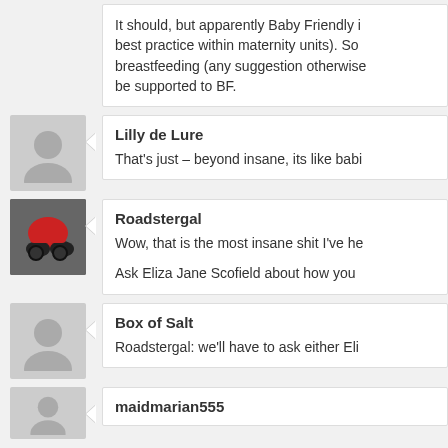It should, but apparently Baby Friendly ... best practice within maternity units). So breastfeeding (any suggestion otherwise be supported to BF.
Lilly de Lure
That's just – beyond insane, its like babi
Roadstergal
Wow, that is the most insane shit I've he
Ask Eliza Jane Scofield about how you
Box of Salt
Roadstergal: we'll have to ask either Eli
maidmarian555